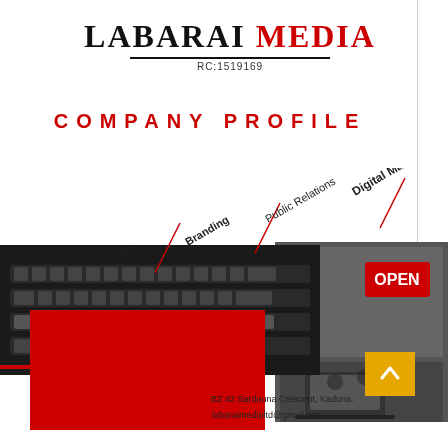LABARAI MEDIA RC:1519169
COMPANY PROFILE
Print | Branding | Public Relations | Digital Marketing
[Figure (illustration): Collage of keyboard and store front images with red block overlay]
BZ 42 Sardauna Crescent, Kaduna.
labaraimedialtd@gmail.com